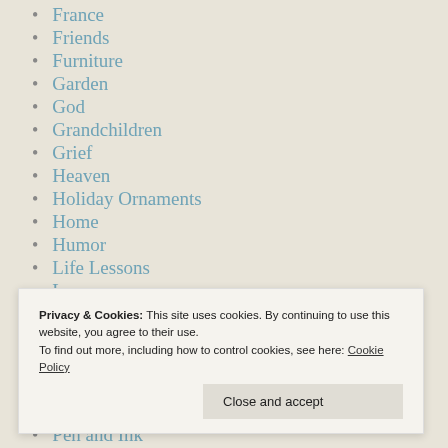France
Friends
Furniture
Garden
God
Grandchildren
Grief
Heaven
Holiday Ornaments
Home
Humor
Life Lessons
Loss
Love
Mortality
NY Times (partially visible)
Pen and Ink
Privacy & Cookies: This site uses cookies. By continuing to use this website, you agree to their use. To find out more, including how to control cookies, see here: Cookie Policy
Close and accept